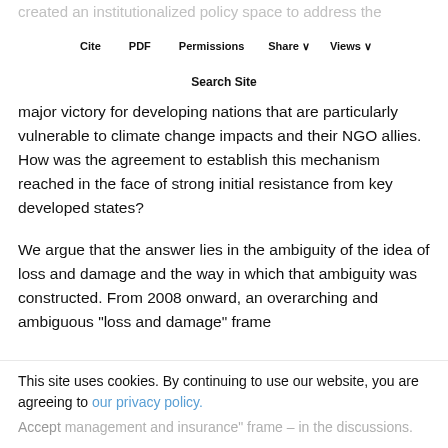created an institutionalized policy space to address the adverse consequences of climate change (UNFCCC 2013). The establishment of the WIM was heralded as a major victory for developing nations that are particularly vulnerable to climate change impacts and their NGO allies. How was the agreement to establish this mechanism reached in the face of strong initial resistance from key developed states?
Cite   PDF   Permissions   Share ∨   Views ∨
Search Site
major victory for developing nations that are particularly vulnerable to climate change impacts and their NGO allies. How was the agreement to establish this mechanism reached in the face of strong initial resistance from key developed states?
We argue that the answer lies in the ambiguity of the idea of loss and damage and the way in which that ambiguity was constructed. From 2008 onward, an overarching and ambiguous "loss and damage" frame
This site uses cookies. By continuing to use our website, you are agreeing to our privacy policy. Accept
management and insurance" frame – in the discussions.